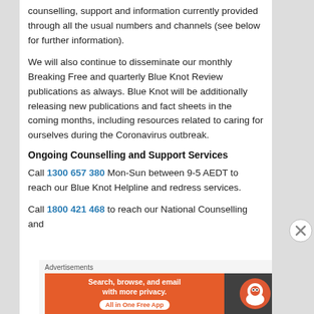counselling, support and information currently provided through all the usual numbers and channels (see below for further information).
We will also continue to disseminate our monthly Breaking Free and quarterly Blue Knot Review publications as always. Blue Knot will be additionally releasing new publications and fact sheets in the coming months, including resources related to caring for ourselves during the Coronavirus outbreak.
Ongoing Counselling and Support Services
Call 1300 657 380 Mon-Sun between 9-5 AEDT to reach our Blue Knot Helpline and redress services.
Call 1800 421 468 to reach our National Counselling and
Advertisements
[Figure (other): DuckDuckGo advertisement banner: 'Search, browse, and email with more privacy. All in One Free App' with DuckDuckGo logo on dark background.]